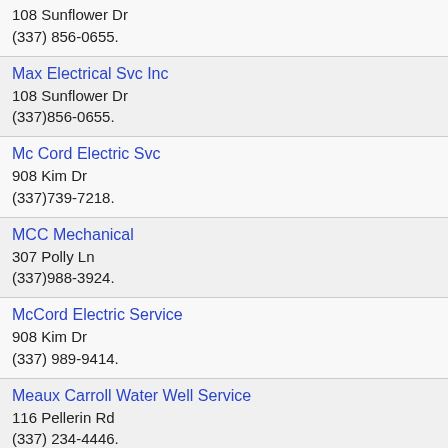108 Sunflower Dr
(337) 856-0655.
Max Electrical Svc Inc
108 Sunflower Dr
(337)856-0655.
Mc Cord Electric Svc
908 Kim Dr
(337)739-7218.
MCC Mechanical
307 Polly Ln
(337)988-3924.
McCord Electric Service
908 Kim Dr
(337) 989-9414.
Meaux Carroll Water Well Service
116 Pellerin Rd
(337) 234-4446.
Melancon Floors Inc
3419 NE Evangeline Trwy